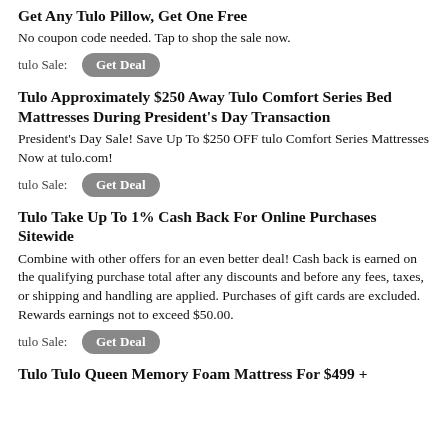Get Any Tulo Pillow, Get One Free
No coupon code needed. Tap to shop the sale now.
tulo Sale:  Get Deal
Tulo Approximately $250 Away Tulo Comfort Series Bed Mattresses During President's Day Transaction
President's Day Sale! Save Up To $250 OFF tulo Comfort Series Mattresses Now at tulo.com!
tulo Sale:  Get Deal
Tulo Take Up To 1% Cash Back For Online Purchases Sitewide
Combine with other offers for an even better deal! Cash back is earned on the qualifying purchase total after any discounts and before any fees, taxes, or shipping and handling are applied. Purchases of gift cards are excluded. Rewards earnings not to exceed $50.00.
tulo Sale:  Get Deal
Tulo Tulo Queen Memory Foam Mattress For $499 +